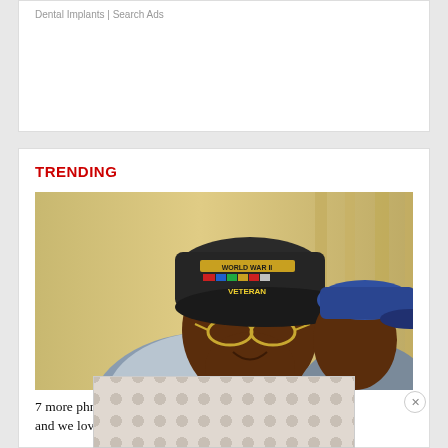Dental Implants | Search Ads
TRENDING
[Figure (photo): Two elderly Black World War II veterans, one in foreground wearing a black cap labeled 'World War II Veteran' with colorful ribbons, smiling and wearing gold aviator glasses; another veteran in background wearing a blue cap, seen in profile.]
7 more phrases old school veterans can't stop saying — and we love it